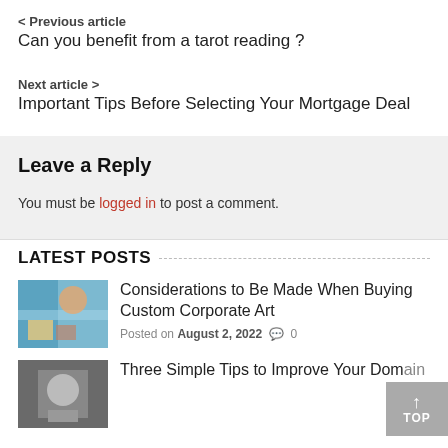< Previous article
Can you benefit from a tarot reading?
Next article >
Important Tips Before Selecting Your Mortgage Deal
Leave a Reply
You must be logged in to post a comment.
LATEST POSTS
[Figure (photo): Thumbnail image of colorful corporate art]
Considerations to Be Made When Buying Custom Corporate Art
Posted on August 2, 2022  0
[Figure (photo): Thumbnail image for second post]
Three Simple Tips to Improve Your Domain